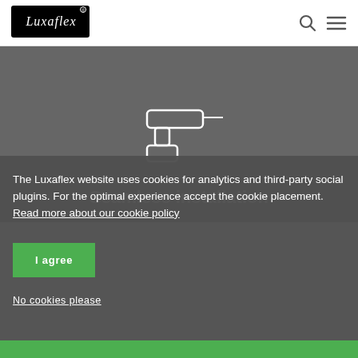[Figure (logo): Luxaflex logo in black and white with script lettering]
[Figure (illustration): White outline icon of a power drill / electric screwdriver on gray background]
Seamless installation
The Luxaflex website uses cookies for analytics and third-party social plugins. For the optimal experience accept the cookie placement. Read more about our cookie policy
I agree
No cookies please